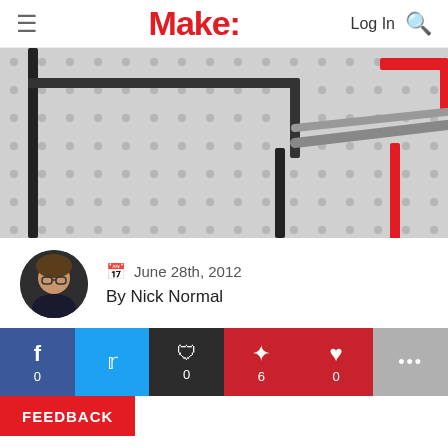Make: Log In [search]
[Figure (photo): Close-up of a breadboard with black and red wires inserted into holes, showing circuit connections on a grey perforated board.]
June 28th, 2012
By Nick Normal
[Figure (infographic): Social sharing bar with Facebook (0), Twitter, Reddit (0), Pinterest (6), Heart/Like (0), and More (...) buttons.]
FEEDBACK